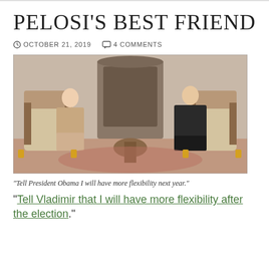PELOSI'S BEST FRIEND
OCTOBER 21, 2019   4 COMMENTS
[Figure (photo): Two people seated in ornate chairs in a formal meeting room with a decorative fireplace between them]
"Tell President Obama I will have more flexibility next year."
"Tell Vladimir that I will have more flexibility after the election."